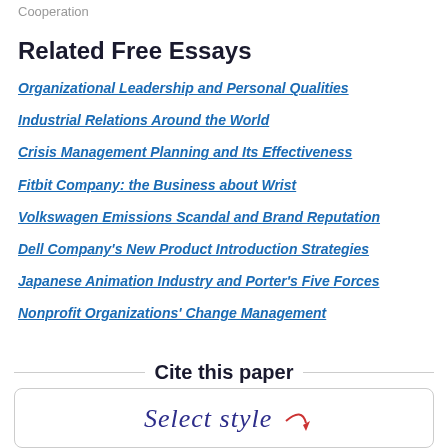Cooperation
Related Free Essays
Organizational Leadership and Personal Qualities
Industrial Relations Around the World
Crisis Management Planning and Its Effectiveness
Fitbit Company: the Business about Wrist
Volkswagen Emissions Scandal and Brand Reputation
Dell Company's New Product Introduction Strategies
Japanese Animation Industry and Porter's Five Forces
Nonprofit Organizations' Change Management
Cite this paper
[Figure (other): Select style button with cursive 'Select style' text and a red arrow icon]